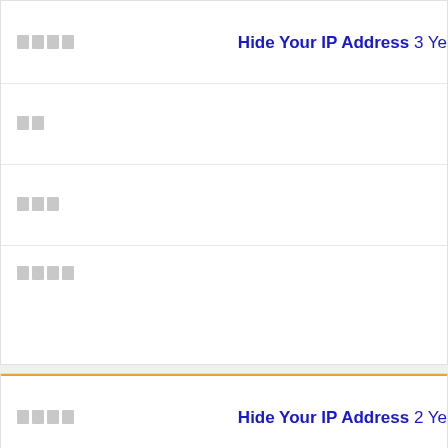□□□□   Hide Your IP Address 3 Ye...
□□
□□□
□□□□
□□□□   Hide Your IP Address 2 Ye...
□□
□□□
□□□□